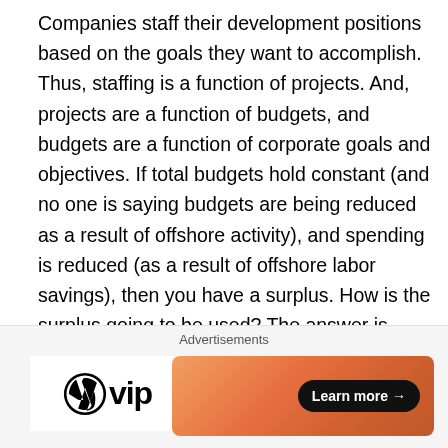Companies staff their development positions based on the goals they want to accomplish. Thus, staffing is a function of projects. And, projects are a function of budgets, and budgets are a function of corporate goals and objectives. If total budgets hold constant (and no one is saying budgets are being reduced as a result of offshore activity), and spending is reduced (as a result of offshore labor savings), then you have a surplus. How is the surplus going to be used? The answer is "more development projects"!
Listen to Peter Drucker:
"The inefficiency of knowledge workers is partly the legacy of the 19th century belief that a modern company tries to
[Figure (other): Advertisement banner area with WordPress VIP logo on the left and an orange gradient banner with 'Learn more' button on the right. Close button (X) visible at top right.]